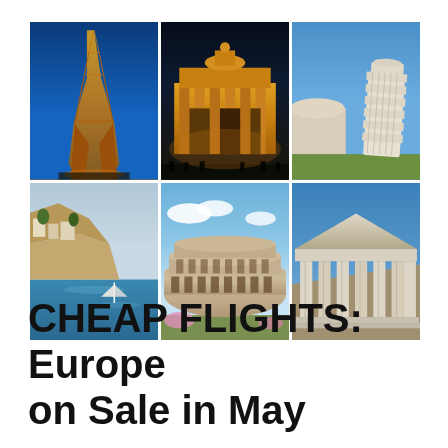[Figure (photo): A 2x3 collage of European landmark photos: Eiffel Tower (Paris), Brandenburg Gate (Berlin), Leaning Tower of Pisa (Italy), Monaco/French Riviera coastline, Colosseum (Rome), Parthenon (Athens)]
CHEAP FLIGHTS: Europe on Sale in May